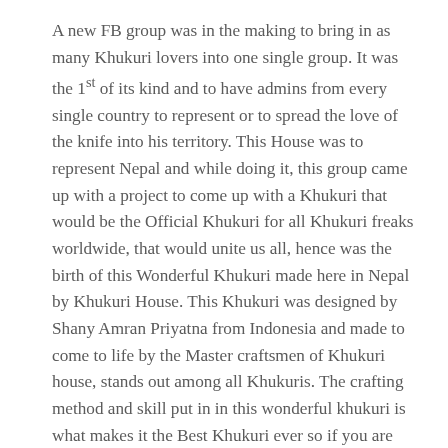A new FB group was in the making to bring in as many Khukuri lovers into one single group. It was the 1st of its kind and to have admins from every single country to represent or to spread the love of the knife into his territory. This House was to represent Nepal and while doing it, this group came up with a project to come up with a Khukuri that would be the Official Khukuri for all Khukuri freaks worldwide, that would unite us all, hence was the birth of this Wonderful Khukuri made here in Nepal by Khukuri House. This Khukuri was designed by Shany Amran Priyatna from Indonesia and made to come to life by the Master craftsmen of Khukuri house, stands out among all Khukuris. The crafting method and skill put in in this wonderful khukuri is what makes it the Best Khukuri ever so if you are into Khukuris, you love the knife and deciding to own one, This is the Khukuri for you.